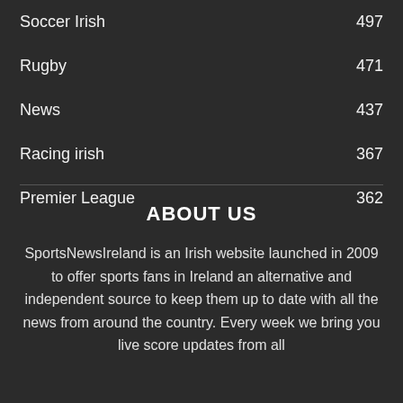Soccer Irish  497
Rugby  471
News  437
Racing irish  367
Premier League  362
ABOUT US
SportsNewsIreland is an Irish website launched in 2009 to offer sports fans in Ireland an alternative and independent source to keep them up to date with all the news from around the country. Every week we bring you live score updates from all